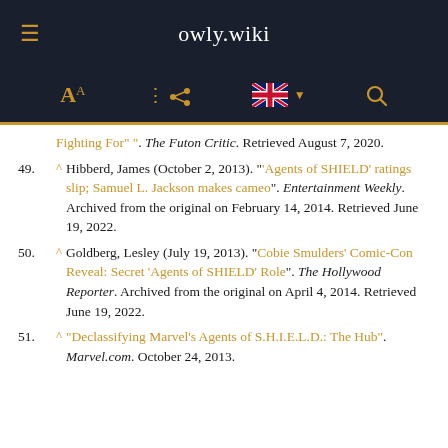owly.wiki
Fighting For" ". The Futon Critic. Retrieved August 7, 2020.
49. ^ Hibberd, James (October 2, 2013). "'Agents of SHIELD' ratings slip; Samuel L. Jackson makes cameo". Entertainment Weekly. Archived from the original on February 14, 2014. Retrieved June 19, 2022.
50. ^ Goldberg, Lesley (July 19, 2013). "Cobie Smulders' Comic-Con Reveal: Secret 'Agents of SHIELD' Role". The Hollywood Reporter. Archived from the original on April 4, 2014. Retrieved June 19, 2022.
51. ^ "Declassifying Marvel's Agents of S.H.I.E.L.D.: The Hub". Marvel.com. October 24, 2013.